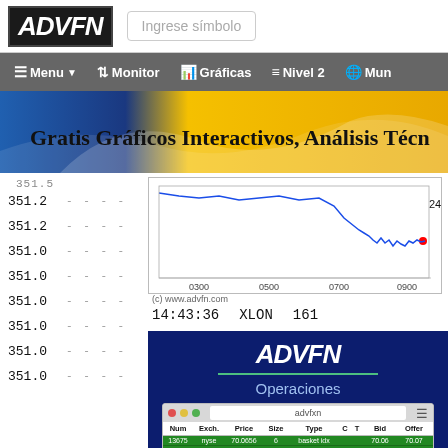ADVFN | Ingrese símbolo
[Figure (screenshot): ADVFN website navigation bar with Menu, Monitor, Gráficas, Nivel 2, Mun options on dark gray background]
[Figure (screenshot): ADVFN banner: Gratis Gráficos Interactivos, Análisis Técn...]
[Figure (continuous-plot): Stock price chart showing price around 240, x-axis labels 0300, 0500, 0700, 0900, source (c) www.advfn.com]
351.2
351.2
351.0
351.0
351.0
351.0
351.0
351.0
14:43:36   XLON   161
[Figure (screenshot): ADVFN Operaciones panel with dark blue background, ADVFN logo, green underline, 'Operaciones' text, and a trades table showing columns Num, Exch., Price, Size, Type, C, T, Bid, Offer, Tim with rows: 13675 nyse 70.0656 6 basket idx - 70.06 70.07 15:43; 13674 nyse 70.07 100 - 70.07 70.07 15:43; 13673 nyse 70.07 100 - 70.07 70.07 15:43; 13673 nyse 70.07 100]